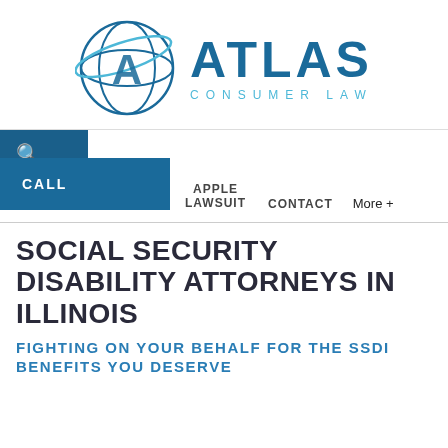[Figure (logo): Atlas Consumer Law logo with globe and 'A' letter mark next to ATLAS CONSUMER LAW text]
[Figure (screenshot): Navigation bar with search icon (dark blue block), CALL button (blue block), APPLE LAWSUIT and CONTACT links, and More + button]
SOCIAL SECURITY DISABILITY ATTORNEYS IN ILLINOIS
FIGHTING ON YOUR BEHALF FOR THE SSDI BENEFITS YOU DESERVE
partial body text visible at bottom